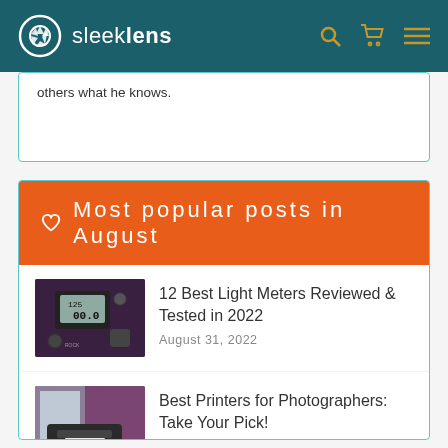sleeklens
others what he knows.
♡ Most popular posts in August
[Figure (photo): Close-up photo of a light meter device showing a digital display]
12 Best Light Meters Reviewed & Tested in 2022
August 31, 2022
[Figure (photo): Photo of a large format printer near a window with printed photos beside it]
Best Printers for Photographers: Take Your Pick!
August 17, 2022